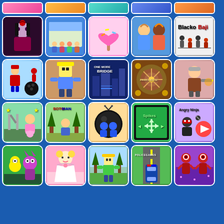[Figure (screenshot): Grid of mobile game tiles on a blue background. Row 1 (partial): 5 game icons cropped at top. Row 2: Monster High dress-up, classroom game, candy/lollipop game, hair salon game, Blacko Baji game. Row 3: Mario bowling, rainbow character, One More Bridge, Parcheesi, grandpa shooter. Row 4: Colorful pet game, Soto Man, ball/bug game, Spikes puzzle, Angry Ninja. Row 5: Minion monster game, doll dress-up, Roblox character, Police Road, alien shooter.]